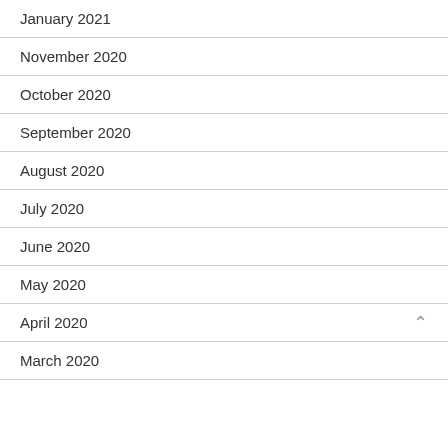January 2021
November 2020
October 2020
September 2020
August 2020
July 2020
June 2020
May 2020
April 2020
March 2020